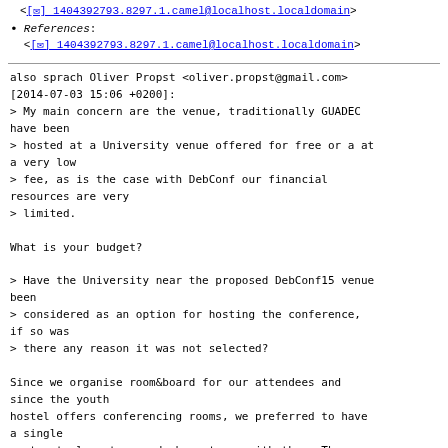References: <[✉] 1404392793.8297.1.camel@localhost.localdomain>
also sprach Oliver Propst <oliver.propst@gmail.com>
[2014-07-03 15:06 +0200]:
> My main concern are the venue, traditionally GUADEC have been
> hosted at a University venue offered for free or a at a very low
> fee, as is the case with DebConf our financial resources are very
> limited.

What is your budget?

> Have the University near the proposed DebConf15 venue been
> considered as an option for hosting the conference, if so was
> there any reason it was not selected?

Since we organise room&board for our attendees and since the youth
hostel offers conferencing rooms, we preferred to have a single
contractual partner and chose to go with them. The conferencing
costs us 1000€/day